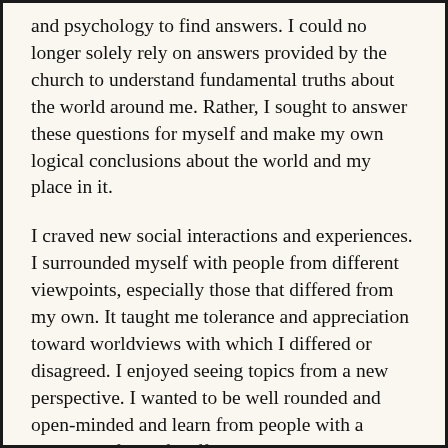and psychology to find answers. I could no longer solely rely on answers provided by the church to understand fundamental truths about the world around me. Rather, I sought to answer these questions for myself and make my own logical conclusions about the world and my place in it.
I craved new social interactions and experiences. I surrounded myself with people from different viewpoints, especially those that differed from my own. It taught me tolerance and appreciation toward worldviews with which I differed or disagreed. I enjoyed seeing topics from a new perspective. I wanted to be well rounded and open-minded and learn from people with a diversity of beliefs, affiliations, and behaviors.